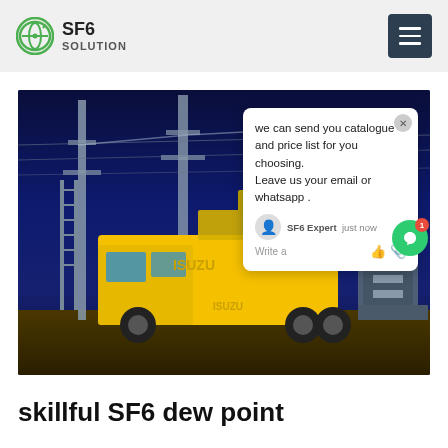SF6 SOLUTION
[Figure (photo): Yellow ISUZU truck parked at an electrical substation at night, with large metal towers and overhead lines visible against a dark blue sky. The SF6China watermark appears in orange at bottom right. A chat popup overlay is visible on the right side.]
skillful SF6 dew point